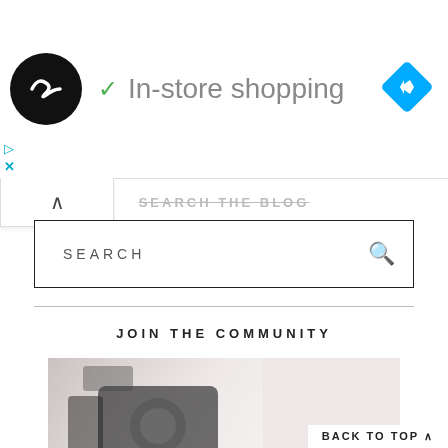[Figure (screenshot): Ad banner with circular logo icon, checkmark, and 'In-store shopping' text, plus blue diamond navigation icon on right]
SEARCH THE BLOG
SEARCH
JOIN THE COMMUNITY
[Figure (photo): Muslimah Bloggers community image with camera and accessories in pink/white tones, text overlay reading 'Muslimah Bloggers']
BACK TO TOP ^